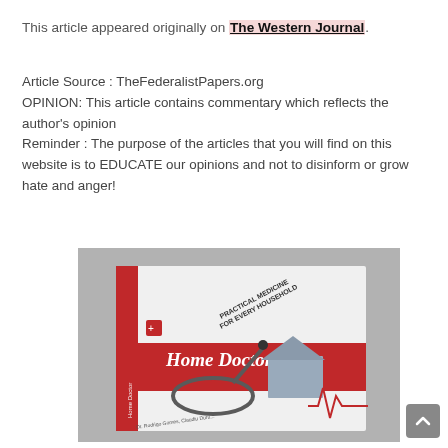This article appeared originally on The Western Journal.
Article Source : TheFederalistPapers.org
OPINION: This article contains commentary which reflects the author's opinion
Reminder : The purpose of the articles that you will find on this website is to EDUCATE our opinions and not to disinform or grow hate and anger!
[Figure (photo): Book cover of 'Home Doctor: Practical Medicine for Every Household' showing a stethoscope, a house model, and a red book spine]